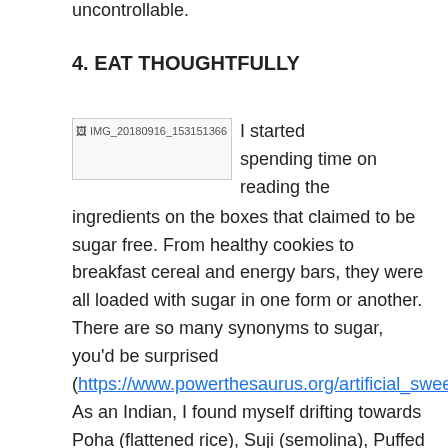uncontrollable.
4. EAT THOUGHTFULLY
I started spending time on reading the ingredients on the boxes that claimed to be sugar free. From healthy cookies to breakfast cereal and energy bars, they were all loaded with sugar in one form or another. There are so many synonyms to sugar, you'd be surprised (https://www.powerthesaurus.org/artificial_sweetener). As an Indian, I found myself drifting towards Poha (flattened rice), Suji (semolina), Puffed Rice and Daliya (Indian Quinoa) as my go to options, with a huge volume of vegetables.
[Figure (photo): Image placeholder labeled IMG_20180916_153151366]